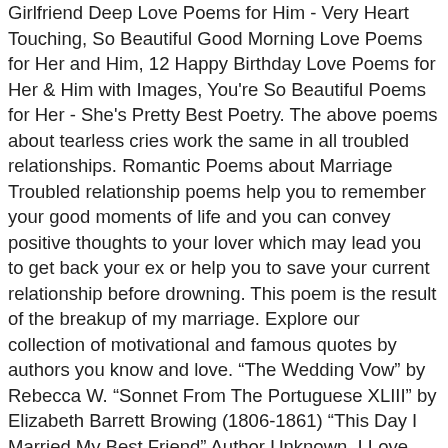Girlfriend Deep Love Poems for Him - Very Heart Touching, So Beautiful Good Morning Love Poems for Her and Him, 12 Happy Birthday Love Poems for Her & Him with Images, You're So Beautiful Poems for Her - She's Pretty Best Poetry. The above poems about tearless cries work the same in all troubled relationships. Romantic Poems about Marriage Troubled relationship poems help you to remember your good moments of life and you can convey positive thoughts to your lover which may lead you to get back your ex or help you to save your current relationship before drowning. This poem is the result of the breakup of my marriage. Explore our collection of motivational and famous quotes by authors you know and love. “The Wedding Vow” by Rebecca W. “Sonnet From The Portuguese XLIII” by Elizabeth Barrett Browing (1806-1861) “This Day I Married My Best Friend” Author Unknown. I Love you Images, Pictures and Quotes for Him and Her, 70 Love Quotes to Get Your Girlfriend Back by Winning Her Heart, Happy New Year 2021 Love Poems for Her & Him, 30 Emotional I Miss You Love Poems for Her & Him with Images, Best in Poem Quotes with Pictures (Source: the Oracle of